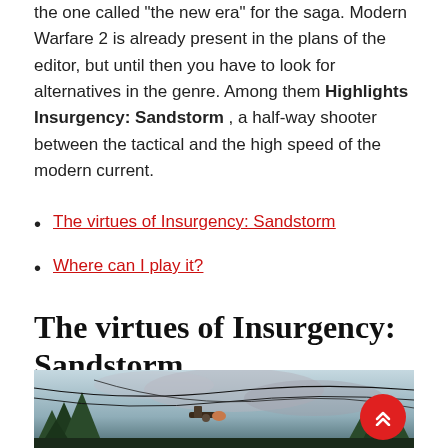the one called "the new era" for the saga. Modern Warfare 2 is already present in the plans of the editor, but until then you have to look for alternatives in the genre. Among them Highlights Insurgency: Sandstorm , a half-way shooter between the tactical and the high speed of the modern current.
The virtues of Insurgency: Sandstorm
Where can I play it?
The virtues of Insurgency: Sandstorm
[Figure (photo): Screenshot from Insurgency: Sandstorm game showing a player holding a weapon with overhead wires, trees, and a smoky sky in the background. A red scroll-to-top button is visible in the bottom right corner.]